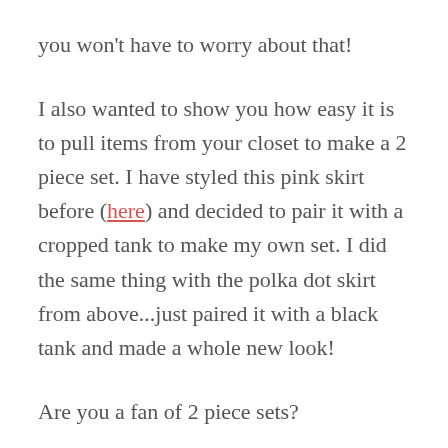you won't have to worry about that!
I also wanted to show you how easy it is to pull items from your closet to make a 2 piece set. I have styled this pink skirt before (here) and decided to pair it with a cropped tank to make my own set. I did the same thing with the polka dot skirt from above...just paired it with a black tank and made a whole new look!
Are you a fan of 2 piece sets?
Don't forget that you can get 15% off your whole